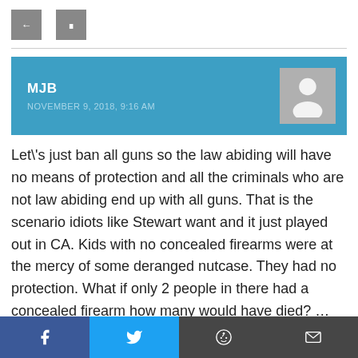[Figure (other): Two small grey navigation/UI buttons]
MJB
NOVEMBER 9, 2018, 9:16 AM
Let\'s just ban all guns so the law abiding will have no means of protection and all the criminals who are not law abiding end up with all guns. That is the scenario idiots like Stewart want and it just played out in CA. Kids with no concealed firearms were at the mercy of some deranged nutcase. They had no protection. What if only 2 people in there had a concealed firearm how many would have died? ...nutcase. No more blaming ...that abuse the privilege